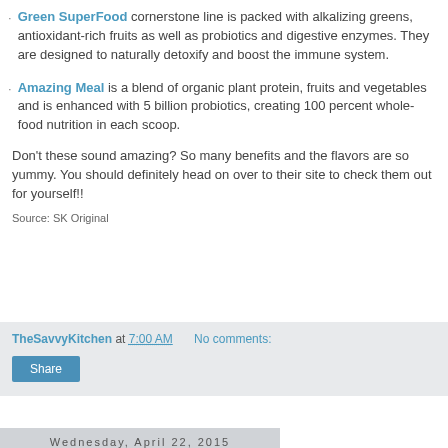Green SuperFood cornerstone line is packed with alkalizing greens, antioxidant-rich fruits as well as probiotics and digestive enzymes. They are designed to naturally detoxify and boost the immune system.
Amazing Meal is a blend of organic plant protein, fruits and vegetables and is enhanced with 5 billion probiotics, creating 100 percent whole-food nutrition in each scoop.
Don't these sound amazing? So many benefits and the flavors are so yummy. You should definitely head on over to their site to check them out for yourself!!
Source: SK Original
TheSavvyKitchen at 7:00 AM   No comments:
Share
Wednesday, April 22, 2015